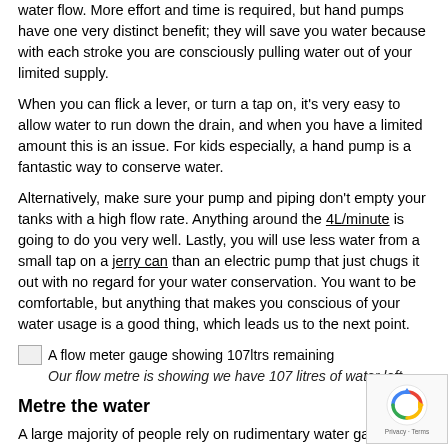water flow. More effort and time is required, but hand pumps have one very distinct benefit; they will save you water because with each stroke you are consciously pulling water out of your limited supply.
When you can flick a lever, or turn a tap on, it's very easy to allow water to run down the drain, and when you have a limited amount this is an issue. For kids especially, a hand pump is a fantastic way to conserve water.
Alternatively, make sure your pump and piping don't empty your tanks with a high flow rate. Anything around the 4L/minute is going to do you very well. Lastly, you will use less water from a small tap on a jerry can than an electric pump that just chugs it out with no regard for your water conservation. You want to be comfortable, but anything that makes you conscious of your water usage is a good thing, which leads us to the next point.
[Figure (photo): A flow meter gauge showing 107ltrs remaining]
Our flow metre is showing we have 107 litres of water left.
Metre the water
A large majority of people rely on rudimentary water gauges or